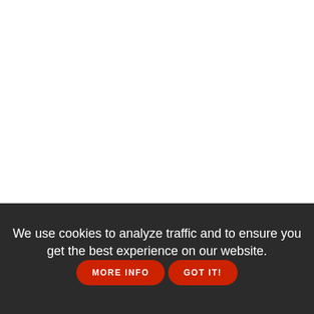[Figure (infographic): Social sharing icons: Facebook, Twitter, Pinterest, LinkedIn, Email — all in blue circles]
RELATED STORY
We use cookies to analyze traffic and to ensure you get the best experience on our website.
MORE INFO
GOT IT!